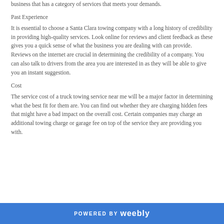business that has a category of services that meets your demands.
Past Experience
It is essential to choose a Santa Clara towing company with a long history of credibility in providing high-quality services. Look online for reviews and client feedback as these gives you a quick sense of what the business you are dealing with can provide. Reviews on the internet are crucial in determining the credibility of a company. You can also talk to drivers from the area you are interested in as they will be able to give you an instant suggestion.
Cost
The service cost of a truck towing service near me will be a major factor in determining what the best fit for them are. You can find out whether they are charging hidden fees that might have a bad impact on the overall cost. Certain companies may charge an additional towing charge or garage fee on top of the service they are providing you with.
POWERED BY weebly